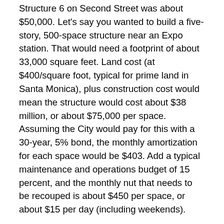Structure 6 on Second Street was about $50,000. Let's say you wanted to build a five-story, 500-space structure near an Expo station. That would need a footprint of about 33,000 square feet. Land cost (at $400/square foot, typical for prime land in Santa Monica), plus construction cost would mean the structure would cost about $38 million, or about $75,000 per space. Assuming the City would pay for this with a 30-year, 5% bond, the monthly amortization for each space would be $403. Add a typical maintenance and operations budget of 15 percent, and the monthly nut that needs to be recouped is about $450 per space, or about $15 per day (including weekends).
Theoretically, I have no problem if Santa Monica built parking structures and charged enough to earn that back, but my guess is that if the City charged that much, there wouldn't be much demand for the parking. (Conversely,